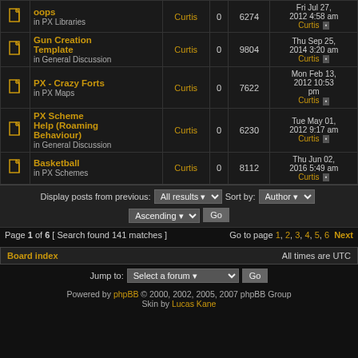|  | Topic | Author | Replies | Views | Last post |
| --- | --- | --- | --- | --- | --- |
| [icon] | oops
in PX Libraries | Curtis | 0 | 6274 | Fri Jul 27, 2012 4:58 am
Curtis |
| [icon] | Gun Creation Template
in General Discussion | Curtis | 0 | 9804 | Thu Sep 25, 2014 3:20 am
Curtis |
| [icon] | PX - Crazy Forts
in PX Maps | Curtis | 0 | 7622 | Mon Feb 13, 2012 10:53 pm
Curtis |
| [icon] | PX Scheme Help (Roaming Behaviour)
in General Discussion | Curtis | 0 | 6230 | Tue May 01, 2012 9:17 am
Curtis |
| [icon] | Basketball
in PX Schemes | Curtis | 0 | 8112 | Thu Jun 02, 2016 5:49 am
Curtis |
Display posts from previous: All results  Sort by: Author  Ascending  Go
Page 1 of 6 [ Search found 141 matches ]   Go to page 1, 2, 3, 4, 5, 6  Next
Board index   All times are UTC
Jump to: Select a forum  Go
Powered by phpBB © 2000, 2002, 2005, 2007 phpBB Group  Skin by Lucas Kane